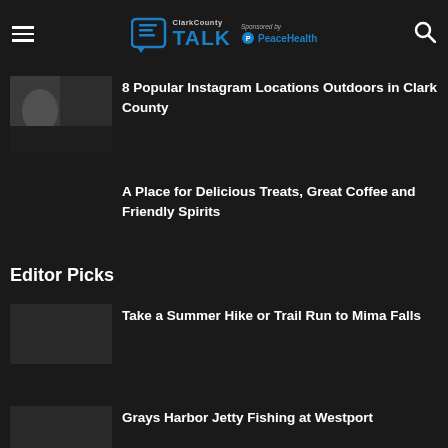ClarkCounty TALK — Sponsored by PeaceHealth
[Figure (photo): Thumbnail image of outdoor scene]
8 Popular Instagram Locations Outdoors in Clark County
A Place for Delicious Treats, Great Coffee and Friendly Spirits
Editor Picks
Take a Summer Hike or Trail Run to Mima Falls
Grays Harbor Jetty Fishing at Westport